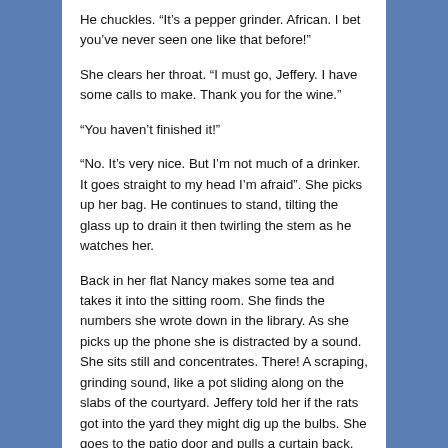He chuckles. “It’s a pepper grinder. African. I bet you’ve never seen one like that before!”
She clears her throat. “I must go, Jeffery. I have some calls to make. Thank you for the wine.”
“You haven’t finished it!”
“No. It’s very nice. But I’m not much of a drinker. It goes straight to my head I’m afraid”. She picks up her bag. He continues to stand, tilting the glass up to drain it then twirling the stem as he watches her.
Back in her flat Nancy makes some tea and takes it into the sitting room. She finds the numbers she wrote down in the library. As she picks up the phone she is distracted by a sound. She sits still and concentrates. There! A scraping, grinding sound, like a pot sliding along on the slabs of the courtyard. Jeffery told her if the rats got into the yard they might dig up the bulbs. She goes to the patio door and pulls a curtain back, peering along the